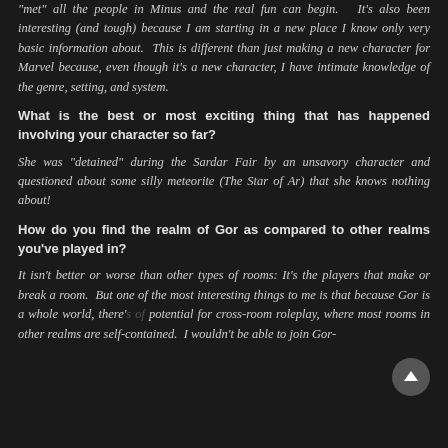“met” all the people in Minus and the real fun can begin.   It’s also been interesting (and tough) because I am starting in a new place I know only very basic information about.  This is different than just making a new character for Marvel because, even though it’s a new character, I have intimate knowledge of the genre, setting, and system.
What is the best or most exciting thing that has happened involving your character so far?
She was “detained” during the Sardar Fair by an unsavory character and questioned about some silly meteorite (The Star of Ar) that she knows nothing about!
How do you find the realm of Gor as compared to other realms you’ve played in?
It isn’t better or worse than other types of rooms: It’s the players that make or break a room.  But one of the most interesting things to me is that because Gor is a whole world, there’s potential for cross-room roleplay, where most rooms in other realms are self-contained.  I wouldn’t be able to join Gor-Blue and have it affect my character in Gor-Red. (or something like that)